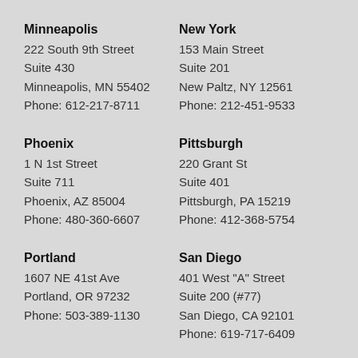Minneapolis
222 South 9th Street
Suite 430
Minneapolis, MN 55402
Phone: 612-217-8711
New York
153 Main Street
Suite 201
New Paltz, NY 12561
Phone: 212-451-9533
Phoenix
1 N 1st Street
Suite 711
Phoenix, AZ 85004
Phone: 480-360-6607
Pittsburgh
220 Grant St
Suite 401
Pittsburgh, PA 15219
Phone: 412-368-5754
Portland
1607 NE 41st Ave
Portland, OR 97232
Phone: 503-389-1130
San Diego
401 West "A" Street
Suite 200 (#77)
San Diego, CA 92101
Phone: 619-717-6409